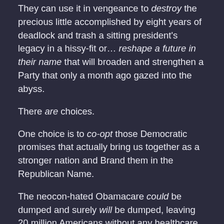They can use it in vengeance to destroy the precious little accomplished by eight years of deadlock and trash a sitting president's legacy in a hissy-fit or… reshape a future in their name that will broaden and strengthen a Party that only a month ago gazed into the abyss.
There are choices.
One choice is to co-opt those Democratic promises that actually bring us together as a stronger nation and Brand them in the Republican Name.
The neocon-hated Obamacare could be dumped and surely will be dumped, leaving 20 million Americans without any healthcare at all. Or, it could finally be provided with its much-needed public option and rebranded as Republicare.